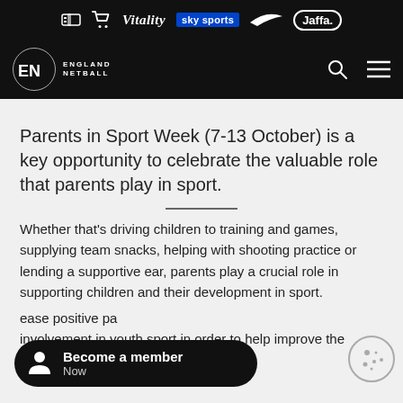Vitality sky sports [Nike] Jaffa
England Netball
Parents in Sport Week (7-13 October) is a key opportunity to celebrate the valuable role that parents play in sport.
Whether that's driving children to training and games, supplying team snacks, helping with shooting practice or lending a supportive ear, parents play a crucial role in supporting children and their development in sport.
ease positive pa involvement in youth sport in order to help improve the